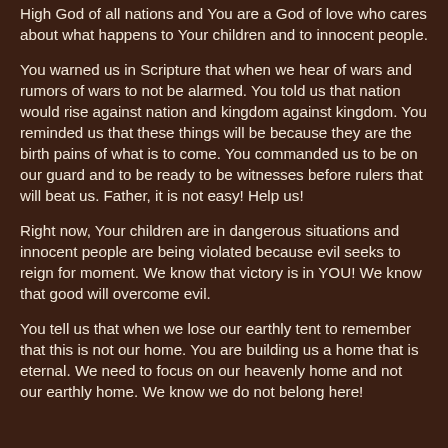High God of all nations and You are a God of love who cares about what happens to Your children and to innocent people.
You warned us in Scripture that when we hear of wars and rumors of wars to not be alarmed. You told us that nation would rise against nation and kingdom against kingdom. You reminded us that these things will be because they are the birth pains of what is to come. You commanded us to be on our guard and to be ready to be witnesses before rulers that will beat us. Father, it is not easy! Help us!
Right now, Your children are in dangerous situations and innocent people are being violated because evil seeks to reign for moment. We know that victory is in YOU! We know that good will overcome evil.
You tell us that when we lose our earthly tent to remember that this is not our home. You are building us a home that is eternal. We need to focus on our heavenly home and not our earthly home. We know we do not belong here!